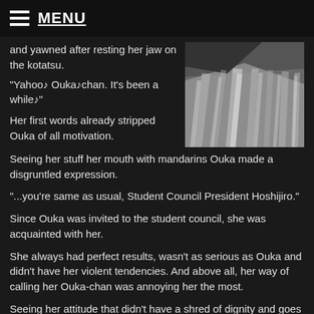MENU
and yawned after resting her jaw on the kotatsu.
[Figure (photo): Black and white illustration of fabric or cloth draped with light and shadow, viewed from below or at an angle showing pleats and folds.]
"Yahoo♪ Ouka♪chan. It's been a while♪"
Her first words already stripped Ouka of all motivation.
Seeing her stuff her mouth with mandarins Ouka made a disgruntled expression.
"...you're same as usual, Student Council President Hoshijiro."
Since Ouka was invited to the student council, she was acquainted with her.
She always had perfect results, wasn't as serious as Ouka and didn't have her violent tendencies. And above all, her way of calling her Ouka-chan was annoying her the most.
Seeing her attitude that didn't have a shred of dignity and goes with the flow, anger stirred in Ouka.